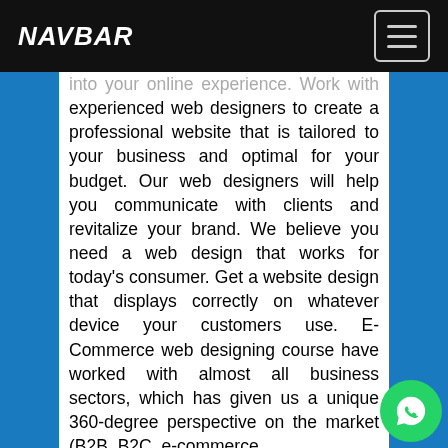NAVBAR
into your online experience. Work with experienced web designers to create a professional website that is tailored to your business and optimal for your budget. Our web designers will help you communicate with clients and revitalize your brand. We believe you need a web design that works for today's consumer. Get a website design that displays correctly on whatever device your customers use. E-Commerce web designing course have worked with almost all business sectors, which has given us a unique 360-degree perspective on the market (B2B, B2C, e-commerce,